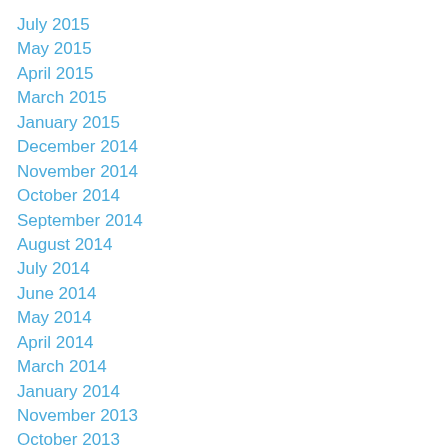July 2015
May 2015
April 2015
March 2015
January 2015
December 2014
November 2014
October 2014
September 2014
August 2014
July 2014
June 2014
May 2014
April 2014
March 2014
January 2014
November 2013
October 2013
September 2013
August 2013